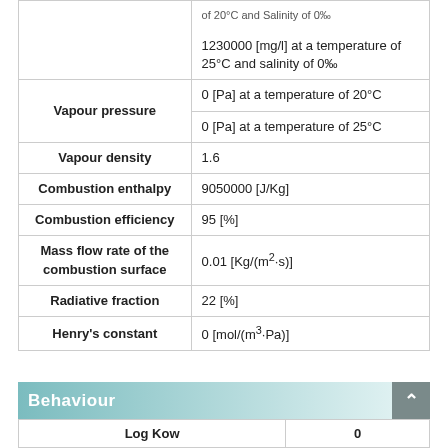| Property | Value |
| --- | --- |
|  | of 20°C and Salinity of 0‰ (partial) |
|  | 1230000 [mg/l] at a temperature of 25°C and salinity of 0‰ |
| Vapour pressure | 0 [Pa] at a temperature of 20°C |
| Vapour pressure | 0 [Pa] at a temperature of 25°C |
| Vapour density | 1.6 |
| Combustion enthalpy | 9050000 [J/Kg] |
| Combustion efficiency | 95 [%] |
| Mass flow rate of the combustion surface | 0.01 [Kg/(m²·s)] |
| Radiative fraction | 22 [%] |
| Henry's constant | 0 [mol/(m³·Pa)] |
Behaviour
| Log Kow | 0 |
| --- | --- |